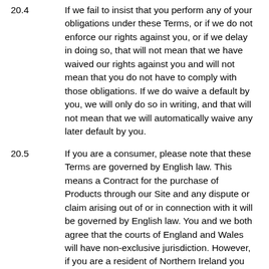20.4   If we fail to insist that you perform any of your obligations under these Terms, or if we do not enforce our rights against you, or if we delay in doing so, that will not mean that we have waived our rights against you and will not mean that you do not have to comply with those obligations. If we do waive a default by you, we will only do so in writing, and that will not mean that we will automatically waive any later default by you.
20.5   If you are a consumer, please note that these Terms are governed by English law. This means a Contract for the purchase of Products through our Site and any dispute or claim arising out of or in connection with it will be governed by English law. You and we both agree that the courts of England and Wales will have non-exclusive jurisdiction. However, if you are a resident of Northern Ireland you may also bring proceedings in Northern Ireland, and if you are a resident of Scotland, you may also bring proceedings in Scotland.
20.6   If you are a business, these Terms are governed by English law. This means that a Contract, and